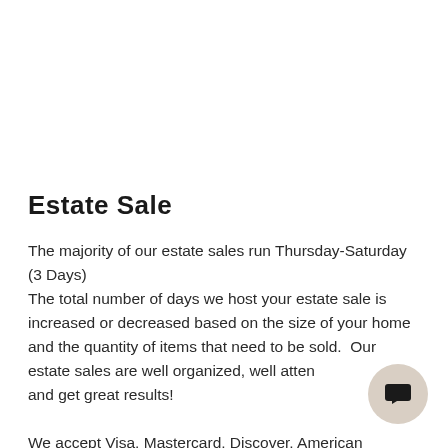Estate Sale
The majority of our estate sales run Thursday-Saturday (3 Days)
The total number of days we host your estate sale is increased or decreased based on the size of your home and the quantity of items that need to be sold. Our estate sales are well organized, well attended and get great results!

We accept Visa, Mastercard, Discover, American